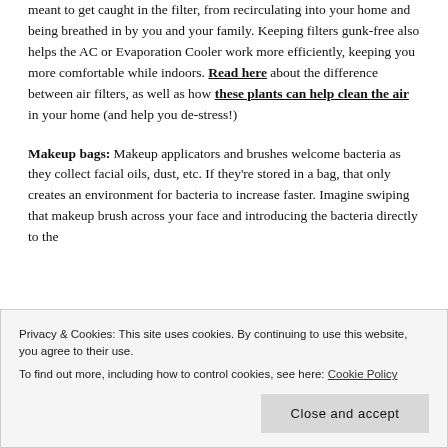meant to get caught in the filter, from recirculating into your home and being breathed in by you and your family. Keeping filters gunk-free also helps the AC or Evaporation Cooler work more efficiently, keeping you more comfortable while indoors. Read here about the difference between air filters, as well as how these plants can help clean the air in your home (and help you de-stress!)
Makeup bags: Makeup applicators and brushes welcome bacteria as they collect facial oils, dust, etc. If they're stored in a bag, that only creates an environment for bacteria to increase faster. Imagine swiping that makeup brush across your face and introducing the bacteria directly to the
the delicate fibers often used in brushes). Store the brushes
Privacy & Cookies: This site uses cookies. By continuing to use this website, you agree to their use.
To find out more, including how to control cookies, see here: Cookie Policy